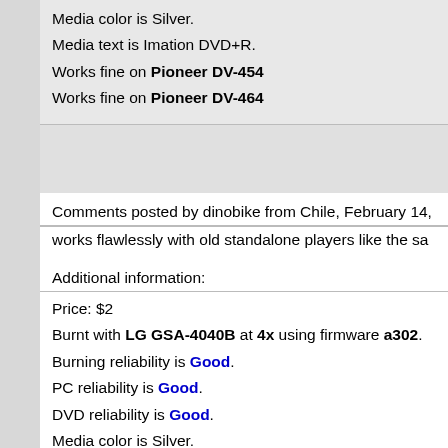Media color is Silver.
Media text is Imation DVD+R.
Works fine on Pioneer DV-454
Works fine on Pioneer DV-464
Comments posted by dinobike from Chile, February 14,
works flawlessly with old standalone players like the sa
Additional information:
Price: $2
Burnt with LG GSA-4040B at 4x using firmware a302.
Burning reliability is Good.
PC reliability is Good.
DVD reliability is Good.
Media color is Silver.
Media text is white.
Authoring/Burning comments: